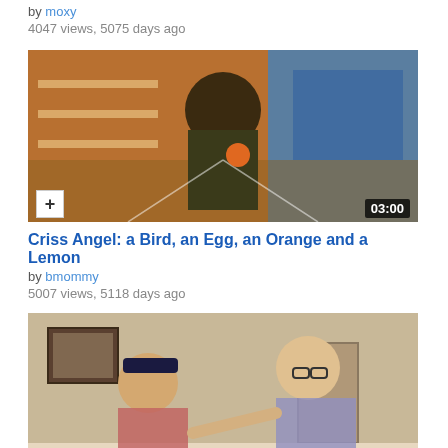by moxy
4047 views, 5075 days ago
[Figure (screenshot): Video thumbnail showing a person in a hat in a store aisle, with a + button and 03:00 duration badge]
Criss Angel: a Bird, an Egg, an Orange and a Lemon
by bmommy
5007 views, 5118 days ago
[Figure (screenshot): Video thumbnail showing two people in what appears to be a living room, with a + button and 04:45 duration badge]
SNL - Matt Foley Halloween sketch
by thesns
13302 views, 5126 days ago